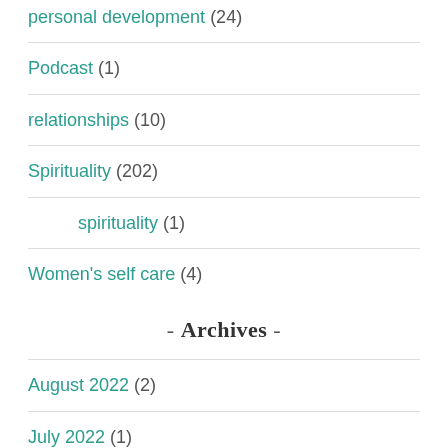personal development (24)
Podcast (1)
relationships (10)
Spirituality (202)
spirituality (1)
Women's self care (4)
- Archives -
August 2022 (2)
July 2022 (1)